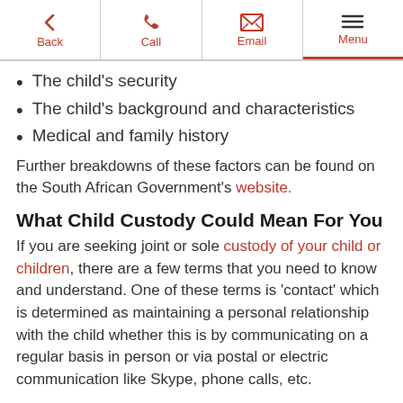Back | Call | Email | Menu
The child's security
The child's background and characteristics
Medical and family history
Further breakdowns of these factors can be found on the South African Government's website.
What Child Custody Could Mean For You
If you are seeking joint or sole custody of your child or children, there are a few terms that you need to know and understand. One of these terms is 'contact' which is determined as maintaining a personal relationship with the child whether this is by communicating on a regular basis in person or via postal or electric communication like Skype, phone calls, etc.